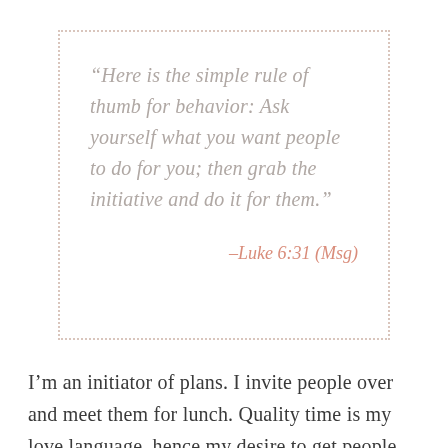“Here is the simple rule of thumb for behavior: Ask yourself what you want people to do for you; then grab the initiative and do it for them.” –Luke 6:31 (Msg)
I’m an initiator of plans. I invite people over and meet them for lunch. Quality time is my love language, hence my desire to get people on my calendar and disappointment when plans